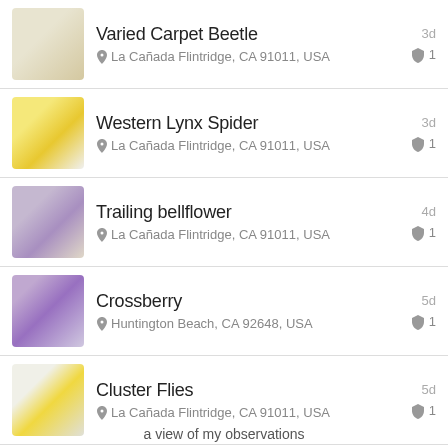Varied Carpet Beetle | La Cañada Flintridge, CA 91011, USA | 3d | 1
Western Lynx Spider | La Cañada Flintridge, CA 91011, USA | 3d | 1
Trailing bellflower | La Cañada Flintridge, CA 91011, USA | 4d | 1
Crossberry | Huntington Beach, CA 92648, USA | 5d | 1
Cluster Flies | La Cañada Flintridge, CA 91011, USA | 5d | 1
Stubble Rosegill | huntington beach | 1
a view of my observations